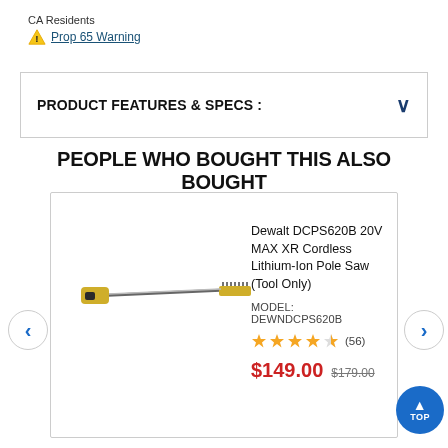CA Residents
⚠ Prop 65 Warning
PRODUCT FEATURES & SPECS :
PEOPLE WHO BOUGHT THIS ALSO BOUGHT
[Figure (photo): Dewalt DCPS620B 20V MAX XR Cordless Lithium-Ion Pole Saw product image]
Dewalt DCPS620B 20V MAX XR Cordless Lithium-Ion Pole Saw (Tool Only)
MODEL: DEWNDCPS620B
★★★★½ (56)
$149.00  $179.00